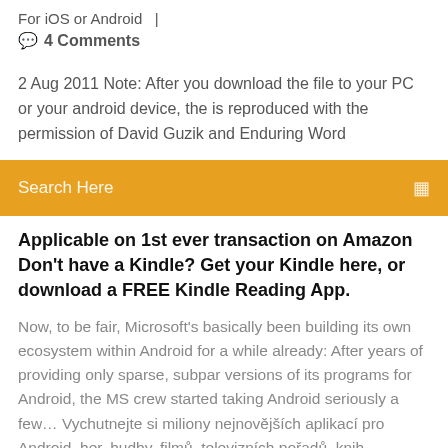For iOS or Android  |
💬  4 Comments
2 Aug 2011 Note: After you download the file to your PC or your android device, the is reproduced with the permission of David Guzik and Enduring Word
Search Here
Applicable on 1st ever transaction on Amazon Don't have a Kindle? Get your Kindle here, or download a FREE Kindle Reading App.
Now, to be fair, Microsoft's basically been building its own ecosystem within Android for a while already: After years of providing only sparse, subpar versions of its programs for Android, the MS crew started taking Android seriously a few... Vychutnejte si miliony nejnovějších aplikací pro Android, her, hudby, filmů, televizních pořadů, knih, časopisů a dalšího obsahu. Kdykoli, kdekoli a v jakémkoli zařízení. Sex, Lies, and Headlocks